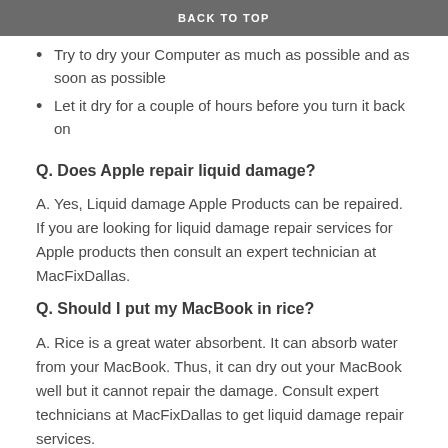BACK TO TOP
Try to dry your Computer as much as possible and as soon as possible
Let it dry for a couple of hours before you turn it back on
Q. Does Apple repair liquid damage?
A. Yes, Liquid damage Apple Products can be repaired. If you are looking for liquid damage repair services for Apple products then consult an expert technician at MacFixDallas.
Q. Should I put my MacBook in rice?
A. Rice is a great water absorbent. It can absorb water from your MacBook. Thus, it can dry out your MacBook well but it cannot repair the damage. Consult expert technicians at MacFixDallas to get liquid damage repair services.